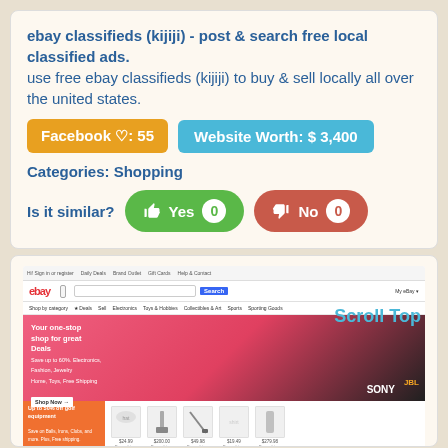ebay classifieds (kijiji) - post & search free local classified ads.
use free ebay classifieds (kijiji) to buy & sell locally all over the united states.
Facebook ♡: 55
Website Worth: $ 3,400
Categories: Shopping
Is it similar?  Yes 0  No 0
[Figure (screenshot): Screenshot of eBay website showing the main shopping page with hero banner 'Your one-stop shop for great Deals' featuring SONY and JBL products, and a golf equipment section below with orange promotional banner 'Up to 50% off golf equipment' and product images.]